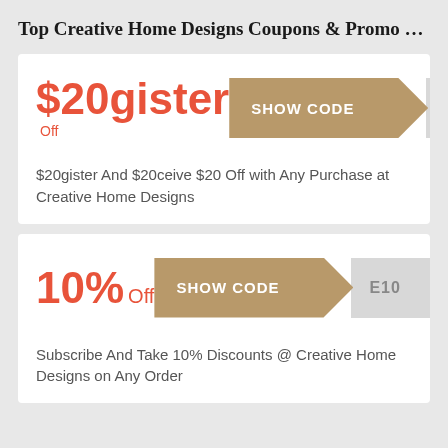Top Creative Home Designs Coupons & Promo …
[Figure (infographic): Coupon card 1: $20gister Off, SHOW CODE button with partial code EFK, description: $20gister And $20ceive $20 Off with Any Purchase at Creative Home Designs]
[Figure (infographic): Coupon card 2: 10% Off, SHOW CODE button with partial code E10, description: Subscribe And Take 10% Discounts @ Creative Home Designs on Any Order]